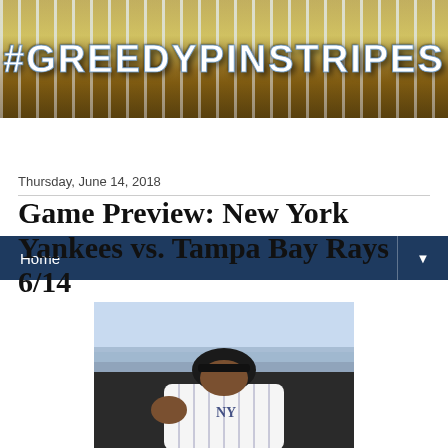[Figure (photo): #GREEDYPINSTRIPES logo banner with pinstripe/stadium background]
Home ▼
Thursday, June 14, 2018
Game Preview: New York Yankees vs. Tampa Bay Rays 6/14
[Figure (photo): New York Yankees pitcher in pinstripe uniform mid-motion on the mound]